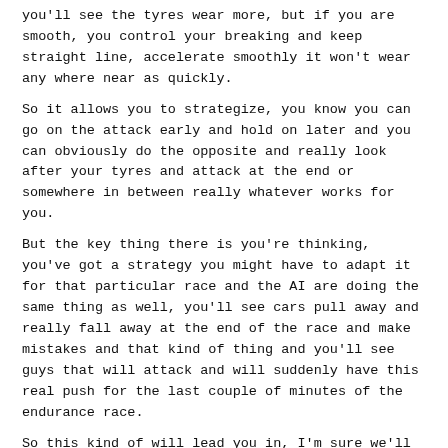you'll see the tyres wear more, but if you are smooth, you control your breaking and keep straight line, accelerate smoothly it won't wear any where near as quickly.
So it allows you to strategize, you know you can go on the attack early and hold on later and you can obviously do the opposite and really look after your tyres and attack at the end or somewhere in between really whatever works for you.
But the key thing there is you're thinking, you've got a strategy you might have to adapt it for that particular race and the AI are doing the same thing as well, you'll see cars pull away and really fall away at the end of the race and make mistakes and that kind of thing and you'll see guys that will attack and will suddenly have this real push for the last couple of minutes of the endurance race.
So this kind of will lead you in, I'm sure we'll talk about more aspects of this later in terms of really setting up very different racing experiences and making you race very differently.
************************************************************
*****